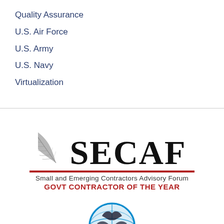Quality Assurance
U.S. Air Force
U.S. Army
U.S. Navy
Virtualization
[Figure (logo): SECAF logo — Small and Emerging Contractors Advisory Forum, Govt Contractor of the Year, with quill pen graphic and red underline]
[Figure (logo): Globe/world icon partially visible at bottom]